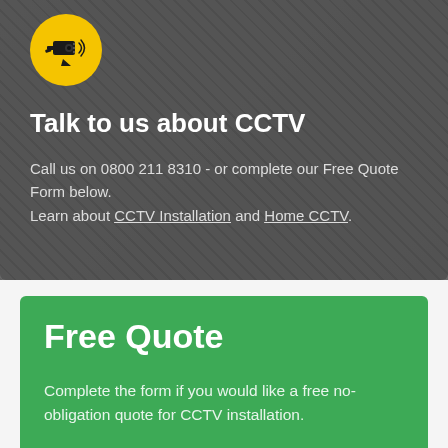[Figure (logo): Yellow circle with black CCTV camera security icon]
Talk to us about CCTV
Call us on 0800 211 8310 - or complete our Free Quote Form below.
Learn about CCTV Installation and Home CCTV.
Free Quote
Complete the form if you would like a free no-obligation quote for CCTV installation.